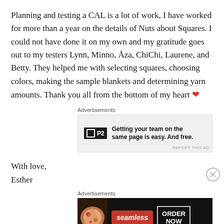Planning and testing a CAL is a lot of work, I have worked for more than a year on the details of Nuts about Squares. I could not have done it on my own and my gratitude goes out to my testers Lynn, Minno, Åza, ChiChi, Laurene, and Betty. They helped me with selecting squares, choosing colors, making the sample blankets and determining yarn amounts. Thank you all from the bottom of my heart ❤
[Figure (screenshot): Advertisement banner for P2 collaboration tool with text: Getting your team on the same page is easy. And free.]
With love,
Esther
[Figure (screenshot): Advertisement banner for Seamless food delivery with ORDER NOW button and pizza image]